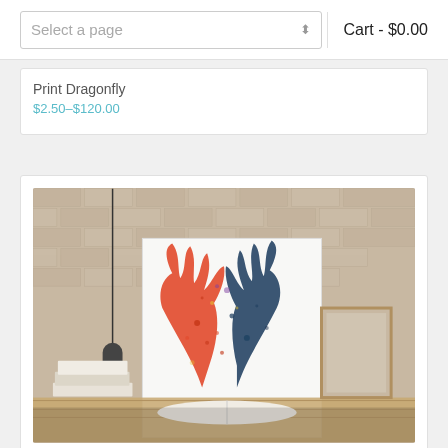Select a page | Cart - $0.00
Print Dragonfly
$2.50–$120.00
[Figure (photo): Watercolor print of deer antlers displayed on a canvas leaning against a brick wall, with books and wooden furniture in the foreground]
Print Deer antlers
$2.50–$120.00